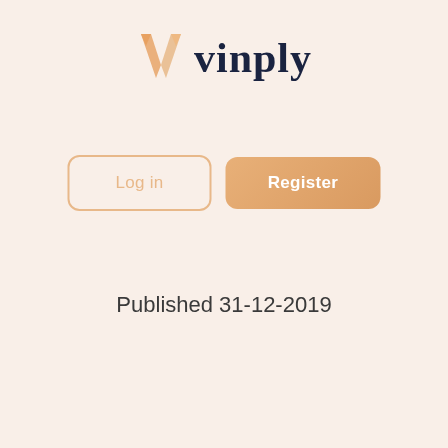[Figure (logo): Vinply logo with orange V-shaped icon and dark navy 'vinply' text]
[Figure (screenshot): Two UI buttons: 'Log in' (outlined, orange text) and 'Register' (filled orange background, white text)]
Published 31-12-2019